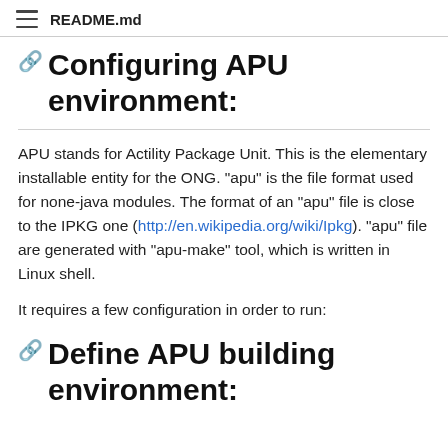README.md
Configuring APU environment:
APU stands for Actility Package Unit. This is the elementary installable entity for the ONG. "apu" is the file format used for none-java modules. The format of an "apu" file is close to the IPKG one (http://en.wikipedia.org/wiki/Ipkg). "apu" file are generated with "apu-make" tool, which is written in Linux shell.
It requires a few configuration in order to run:
Define APU building environment: